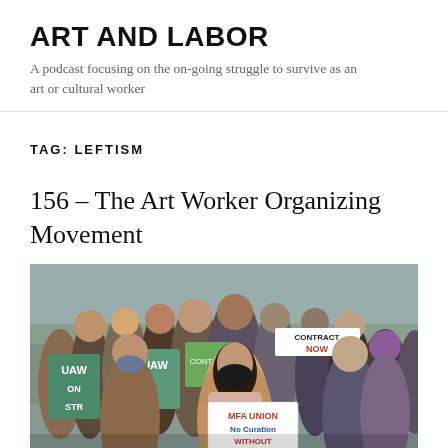ART AND LABOR
A podcast focusing on the on-going struggle to survive as an art or cultural worker
TAG: LEFTISM
156 – The Art Worker Organizing Movement
[Figure (photo): A crowd of protest marchers wearing masks and holding signs including 'MFA UNION No Curation WITHOUT' and 'UAW ON STR' signs at an outdoor protest]